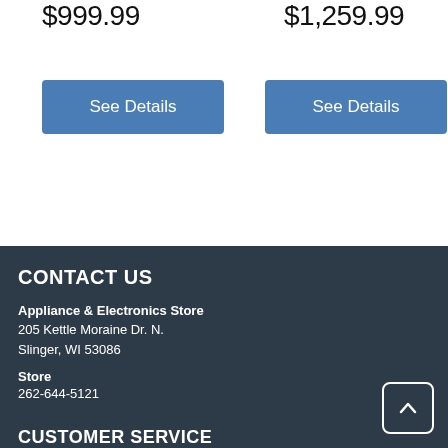$999.99
$1,259.99
See Details
See Details
CONTACT US
Appliance & Electronics Store
205 Kettle Moraine Dr. N.
Slinger, WI 53086
Store
262-644-5121
CUSTOMER SERVICE